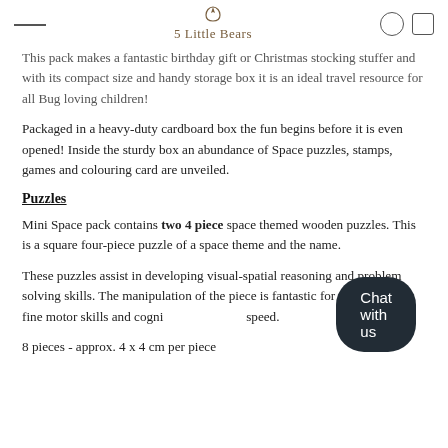5 Little Bears
This pack makes a fantastic birthday gift or Christmas stocking stuffer and with its compact size and handy storage box it is an ideal travel resource for all Bug loving children!
Packaged in a heavy-duty cardboard box the fun begins before it is even opened! Inside the sturdy box an abundance of Space puzzles, stamps, games and colouring card are unveiled.
Puzzles
Mini Space pack contains two 4 piece space themed wooden puzzles. This is a square four-piece puzzle of a space theme and the name.
These puzzles assist in developing visual-spatial reasoning and problem solving skills. The manipulation of the piece is fantastic for strengthening fine motor skills and cogni... speed.
8 pieces - approx. 4 x 4 cm per piece